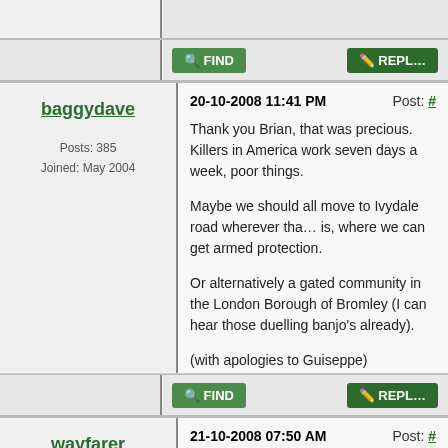[Figure (screenshot): Forum action bar with FIND and REPLY buttons (partial, top)]
baggydave
Posts: 385
Joined: May 2004
20-10-2008 11:41 PM   Post: #
Thank you Brian, that was precious. Killers in America work seven days a week, poor things.

Maybe we should all move to Ivydale road wherever that is, where we can get armed protection.

Or alternatively a gated community in the London Borough of Bromley (I can hear those duelling banjo's already).

(with apologies to Guiseppe)
[Figure (screenshot): Forum action bar with FIND and REPLY buttons (bottom of first post)]
wayfarer
Posts: 119
Joined: Nov 2006
21-10-2008 07:50 AM   Post: #
We were broken into twice a few years ago, (we were the first floor in a victorian conversion) and were offered a security assessment though can't remember if it was